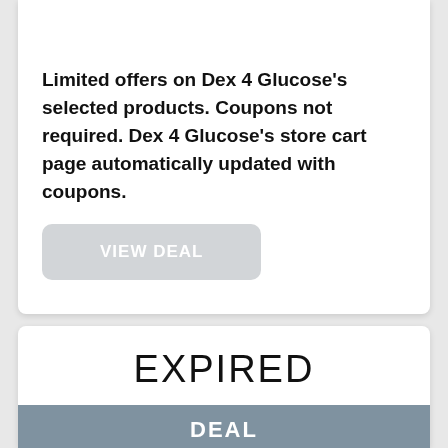DEAL
Limited offers on Dex 4 Glucose’s selected products. Coupons not required. Dex 4 Glucose’s store cart page automatically updated with coupons.
VIEW DEAL
EXPIRED
DEAL
Whopping deals on Dex 4 Glucose products